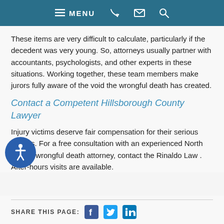MENU
These items are very difficult to calculate, particularly if the decedent was very young. So, attorneys usually partner with accountants, psychologists, and other experts in these situations. Working together, these team members make jurors fully aware of the void the wrongful death has created.
Contact a Competent Hillsborough County Lawyer
Injury victims deserve fair compensation for their serious injuries. For a free consultation with an experienced North Tampa wrongful death attorney, contact the Rinaldo Law . After-hours visits are available.
SHARE THIS PAGE: